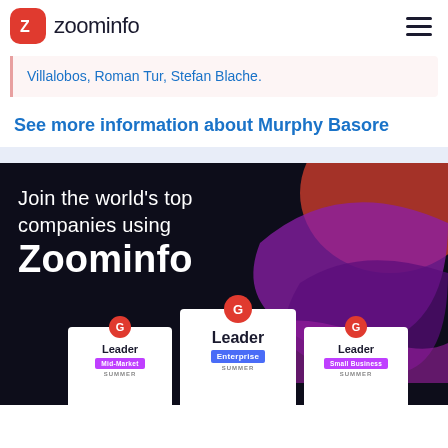zoominfo
Villalobos, Roman Tur, Stefan Blache.
See more information about Murphy Basore
[Figure (infographic): Dark promotional banner with decorative red/purple/magenta abstract blobs. Text reads: 'Join the world's top companies using Zoominfo'. Below are three G2 Leader badges: Leader Mid-Market SUMMER, Leader Enterprise SUMMER, Leader Small Business SUMMER.]